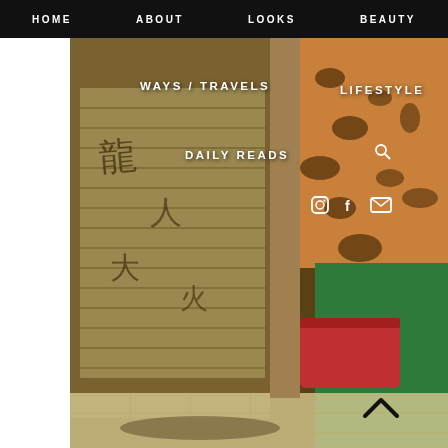HOME   ABOUT   LOOKS   BEAUTY
[Figure (photo): Fashion blog screenshot showing navigation bar with HOME, ABOUT, LOOKS, BEAUTY links, and overlay menu items WAYS/TRAVELS, LIFESTYLE, DAILY READS with social icons (Instagram, Facebook, email). Background shows a woman in leopard print top and green trousers with red bag, standing in front of a graffiti-covered metal shutter.]
WAYS / TRAVELS   LIFESTYLE
DAILY READS
Instagram  Facebook  Email (social icons)